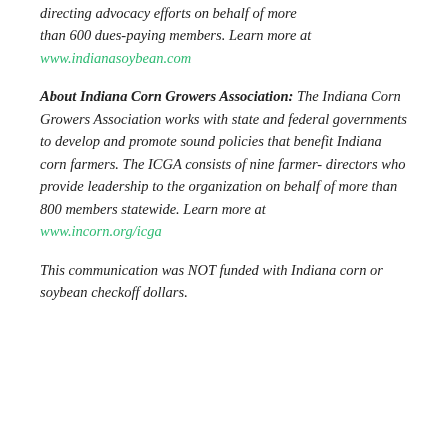directing advocacy efforts on behalf of more than 600 dues-paying members. Learn more at www.indianasoybean.com
About Indiana Corn Growers Association: The Indiana Corn Growers Association works with state and federal governments to develop and promote sound policies that benefit Indiana corn farmers. The ICGA consists of nine farmer-directors who provide leadership to the organization on behalf of more than 800 members statewide. Learn more at www.incorn.org/icga
This communication was NOT funded with Indiana corn or soybean checkoff dollars.